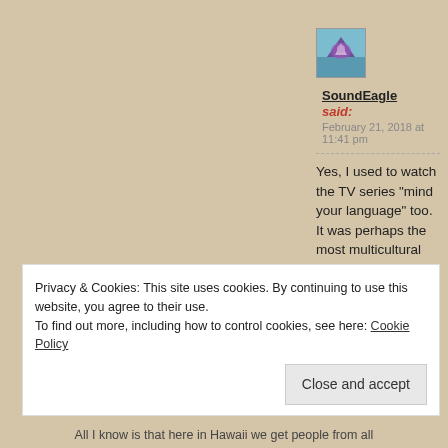[Figure (photo): Avatar image of SoundEagle user with purple and blue bird/eagle logo]
SoundEagle said:
February 21, 2018 at 11:41 pm
Yes, I used to watch the TV series “mind your language” too. It was perhaps the most multicultural TV show of the era.
★ Liked by 2 people
Privacy & Cookies: This site uses cookies. By continuing to use this website, you agree to their use.
To find out more, including how to control cookies, see here: Cookie Policy
Close and accept
All I know is that here in Hawaii we get people from all